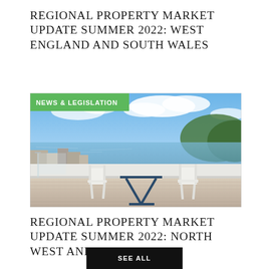REGIONAL PROPERTY MARKET UPDATE SUMMER 2022: WEST ENGLAND AND SOUTH WALES
[Figure (photo): Rooftop terrace with white garden chairs, a dark blue folding table, and a panoramic view of a coastal harbour town with hills and blue sky with clouds. A green banner in the top-left reads 'NEWS & LEGISLATION'.]
REGIONAL PROPERTY MARKET UPDATE SUMMER 2022: NORTH WEST AND NORTH WALES
SEE ALL